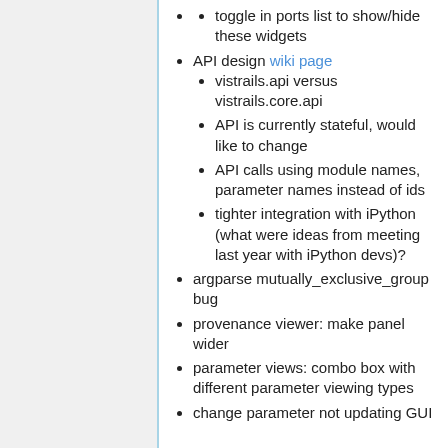toggle in ports list to show/hide these widgets
API design wiki page
vistrails.api versus vistrails.core.api
API is currently stateful, would like to change
API calls using module names, parameter names instead of ids
tighter integration with iPython (what were ideas from meeting last year with iPython devs)?
argparse mutually_exclusive_group bug
provenance viewer: make panel wider
parameter views: combo box with different parameter viewing types
change parameter not updating GUI